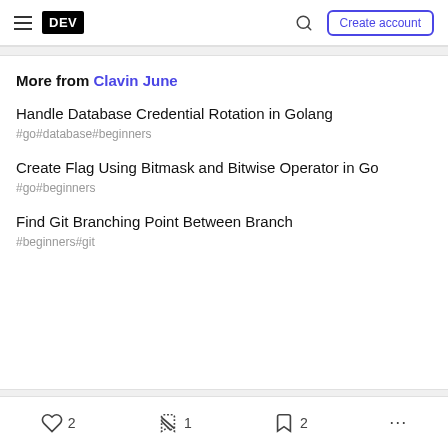DEV — Create account
More from Clavin June
Handle Database Credential Rotation in Golang
#go #database #beginners
Create Flag Using Bitmask and Bitwise Operator in Go
#go #beginners
Find Git Branching Point Between Branch
#beginners #git
2  1  2  ...